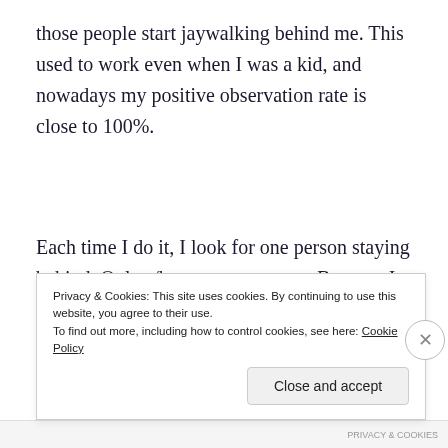those people start jaywalking behind me. This used to work even when I was a kid, and nowadays my positive observation rate is close to 100%.
Each time I do it, I look for one person staying behind. Only s/he gets my respect. Because I cannot think of much creativity and brilliance coming out of an adult person who cannot even decide for him or herself
Privacy & Cookies: This site uses cookies. By continuing to use this website, you agree to their use.
To find out more, including how to control cookies, see here: Cookie Policy
Close and accept